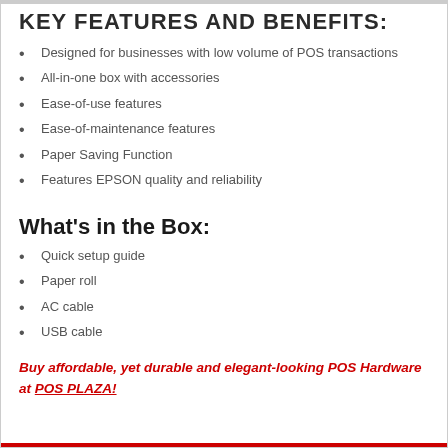KEY FEATURES AND BENEFITS:
Designed for businesses with low volume of POS transactions
All-in-one box with accessories
Ease-of-use features
Ease-of-maintenance features
Paper Saving Function
Features EPSON quality and reliability
What's in the Box:
Quick setup guide
Paper roll
AC cable
USB cable
Buy affordable, yet durable and elegant-looking POS Hardware at POS PLAZA!